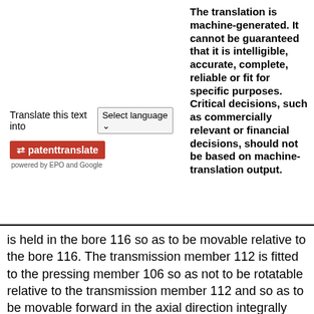The translation is machine-generated. It cannot be guaranteed that it is intelligible, accurate, complete, reliable or fit for specific purposes. Critical decisions, such as commercially relevant or financial decisions, should not be based on machine-translation output.
Translate this text into [Select language]
[Figure (logo): Patent Translate button logo with arrows icon, red background, text 'patenttranslate', subtext 'powered by EPO and Google']
is held in the bore 116 so as to be movable relative to the bore 116. The transmission member 112 is fitted to the pressing member 106 so as not to be rotatable relative to the transmission member 112 and so as to be movable forward in the axial direction integrally with the transmission member